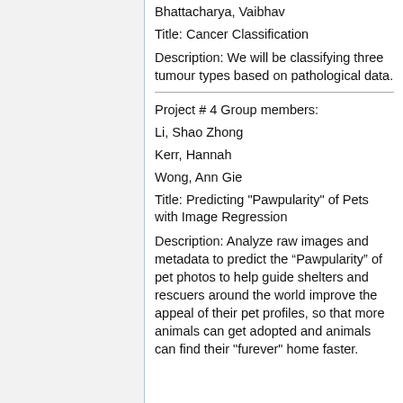Bhattacharya, Vaibhav
Title: Cancer Classification
Description: We will be classifying three tumour types based on pathological data.
Project # 4 Group members:
Li, Shao Zhong
Kerr, Hannah
Wong, Ann Gie
Title: Predicting "Pawpularity" of Pets with Image Regression
Description: Analyze raw images and metadata to predict the “Pawpularity” of pet photos to help guide shelters and rescuers around the world improve the appeal of their pet profiles, so that more animals can get adopted and animals can find their "furever" home faster.